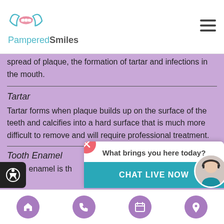PamperedSmiles
spread of plaque, the formation of tartar and infections in the mouth.
Tartar
Tartar forms when plaque builds up on the surface of the teeth and calcifies into a hard surface that is much more difficult to remove and will require professional treatment.
Tooth Enamel
Tooth enamel is th…